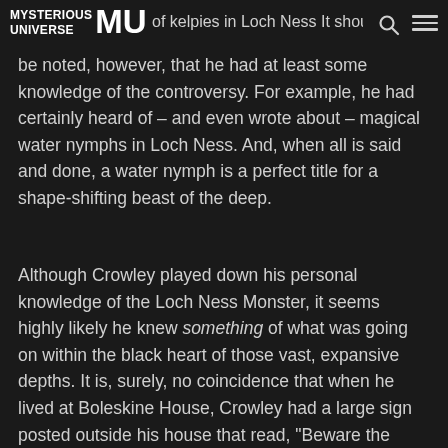MYSTERIOUS UNIVERSE [logo] of kelpies in Loch Ness [search icon] [menu icon]
of kelpies in Loch Ness It should be noted, however, that he had at least some knowledge of the controversy. For example, he had certainly heard of – and even wrote about – magical water nymphs in Loch Ness. And, when all is said and done, a water nymph is a perfect title for a shape-shifting beast of the deep.
Although Crowley played down his personal knowledge of the Loch Ness Monster, it seems highly likely he knew something of what was going on within the black heart of those vast, expansive depths. It is, surely, no coincidence that when he lived at Boleskine House, Crowley had a large sign posted outside his house that read, "Beware the Ichthyosaurus!" Another